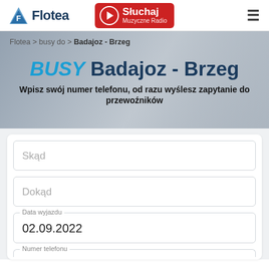Flotea | Słuchaj Muzyczne Radio
Flotea > busy do > Badajoz - Brzeg
BUSY Badajoz - Brzeg
Wpisz swój numer telefonu, od razu wyślesz zapytanie do przewoźników
Skąd
Dokąd
Data wyjazdu
02.09.2022
Numer telefonu